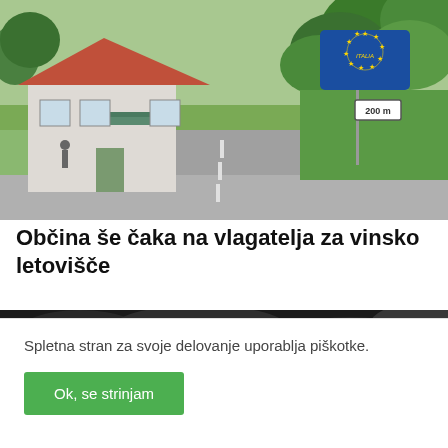[Figure (photo): A road leading to an EU border crossing, with a white building with a red roof on the left, dense green trees on the right, a blue EU sign with gold stars, and a distance marker showing '200 m'.]
Občina še čaka na vlagatelja za vinsko letovišče
[Figure (photo): A dark, blurred crowd or nature photograph used as a thumbnail for a second article.]
Spletna stran za svoje delovanje uporablja piškotke.
Ok, se strinjam